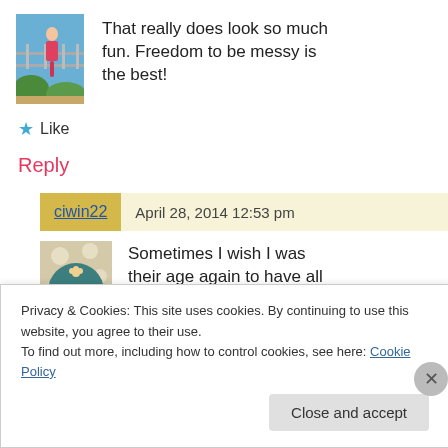[Figure (photo): Avatar photo of a person on a bridge/balcony outdoors]
That really does look so much fun. Freedom to be messy is the best!
★ Like
Reply
ciwin22
April 28, 2014 12:53 pm
[Figure (logo): Blog avatar/logo: circular teal design with floral pattern and text 'Our Little House in the Country']
Sometimes I wish I was their age again to have all this messy fun!!! Mind you I'm having plenty of fun
Privacy & Cookies: This site uses cookies. By continuing to use this website, you agree to their use.
To find out more, including how to control cookies, see here: Cookie Policy
Close and accept